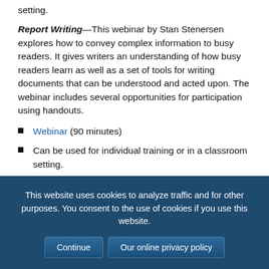setting.
Report Writing—This webinar by Stan Stenersen explores how to convey complex information to busy readers. It gives writers an understanding of how busy readers learn as well as a set of tools for writing documents that can be understood and acted upon. The webinar includes several opportunities for participation using handouts.
Webinar (90 minutes)
Can be used for individual training or in a classroom setting.
Using Data Visualization to Improve Messaging—In order to draw attention to work that incorporates issues and convinces others to be proactive, a message must be
This website uses cookies to analyze traffic and for other purposes. You consent to the use of cookies if you use this website. Continue  Our online privacy policy